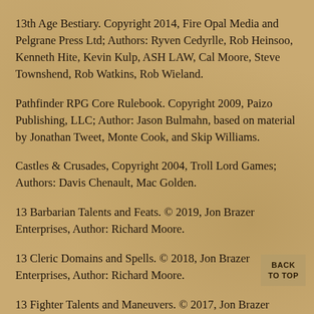13th Age Bestiary. Copyright 2014, Fire Opal Media and Pelgrane Press Ltd; Authors: Ryven Cedyrlle, Rob Heinsoo, Kenneth Hite, Kevin Kulp, ASH LAW, Cal Moore, Steve Townshend, Rob Watkins, Rob Wieland.
Pathfinder RPG Core Rulebook. Copyright 2009, Paizo Publishing, LLC; Author: Jason Bulmahn, based on material by Jonathan Tweet, Monte Cook, and Skip Williams.
Castles & Crusades, Copyright 2004, Troll Lord Games; Authors: Davis Chenault, Mac Golden.
13 Barbarian Talents and Feats. © 2019, Jon Brazer Enterprises, Author: Richard Moore.
13 Cleric Domains and Spells. © 2018, Jon Brazer Enterprises, Author: Richard Moore.
13 Fighter Talents and Maneuvers. © 2017, Jon Brazer